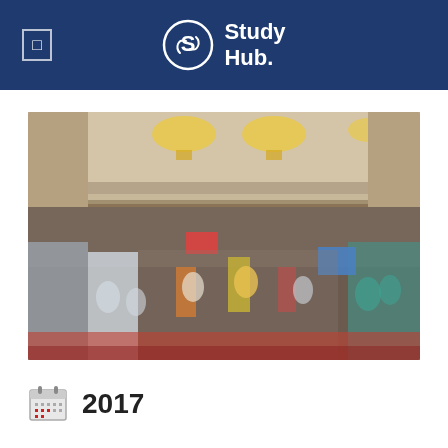Study Hub.
[Figure (photo): Large group photo of students and staff in a grand ballroom/auditorium with chandelier lights. Students from various schools wearing different uniforms are gathered together, many holding signs and banners.]
2017